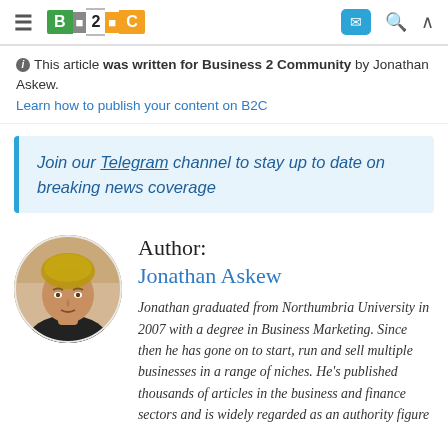B2C (Business 2 Community) — navigation bar with hamburger menu, B2C logo, Telegram button, search icon, and up arrow icon
This article was written for Business 2 Community by Jonathan Askew. Learn how to publish your content on B2C
Join our Telegram channel to stay up to date on breaking news coverage
[Figure (photo): Circular profile photo of Jonathan Askew, a man with short blonde/light brown hair wearing a dark shirt, photographed indoors]
Author: Jonathan Askew
Jonathan graduated from Northumbria University in 2007 with a degree in Business Marketing. Since then he has gone on to start, run and sell multiple businesses in a range of niches. He's published thousands of articles in the business and finance sectors and is widely regarded as an authority figure